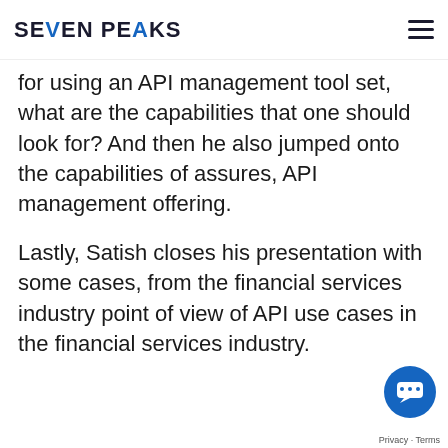SEVEN PEAKS
for using an API management tool set, what are the capabilities that one should look for? And then he also jumped onto the capabilities of assures, API management offering.
Lastly, Satish closes his presentation with some cases, from the financial services industry point of view of API use cases in the financial services industry.